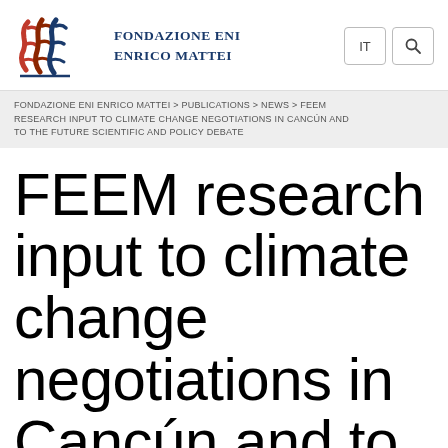[Figure (logo): Fondazione Eni Enrico Mattei logo with stylized red and blue flame/letter marks and organization name in dark blue serif uppercase text]
FONDAZIONE ENI ENRICO MATTEI > PUBLICATIONS > NEWS > FEEM RESEARCH INPUT TO CLIMATE CHANGE NEGOTIATIONS IN CANCÚN AND TO THE FUTURE SCIENTIFIC AND POLICY DEBATE
FEEM research input to climate change negotiations in Cancún and to the future